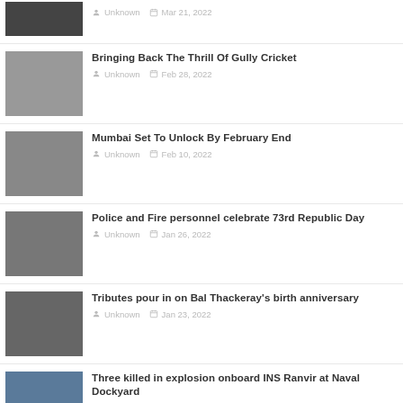Unknown · Mar 21, 2022 (partial top item)
Bringing Back The Thrill Of Gully Cricket — Unknown · Feb 28, 2022
Mumbai Set To Unlock By February End — Unknown · Feb 10, 2022
Police and Fire personnel celebrate 73rd Republic Day — Unknown · Jan 26, 2022
Tributes pour in on Bal Thackeray's birth anniversary — Unknown · Jan 23, 2022
Three killed in explosion onboard INS Ranvir at Naval Dockyard — Unknown · Jan 19, 2022